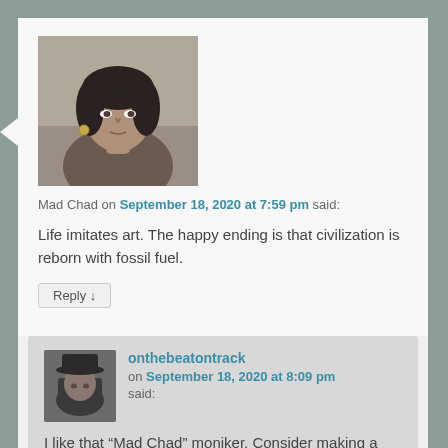[Figure (photo): Black and white portrait photo of a man with long dark hair looking upward]
Mad Chad on September 18, 2020 at 7:59 pm said:
Life imitates art. The happy ending is that civilization is reborn with fossil fuel.
Reply ↓
onthebeatontrack on September 18, 2020 at 8:09 pm said:
[Figure (photo): Small dark profile photo of a person wearing a hat]
I like that “Mad Chad” moniker. Consider making a movie series.
Reply ↓